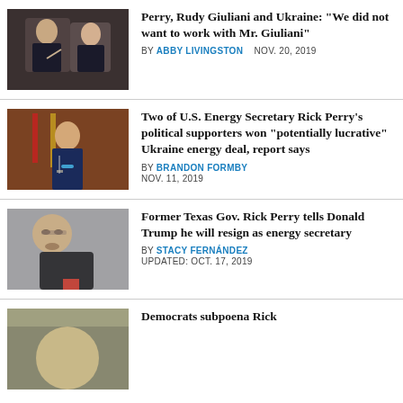[Figure (photo): Two men in dark suits at a hearing or meeting, one gesturing with hands]
Perry, Rudy Giuliani and Ukraine: "We did not want to work with Mr. Giuliani"
BY ABBY LIVINGSTON   NOV. 20, 2019
[Figure (photo): Rick Perry speaking at a podium with flags in the background]
Two of U.S. Energy Secretary Rick Perry's political supporters won "potentially lucrative" Ukraine energy deal, report says
BY BRANDON FORMBY
NOV. 11, 2019
[Figure (photo): Close-up of Rick Perry wearing glasses and a dark suit with red tie]
Former Texas Gov. Rick Perry tells Donald Trump he will resign as energy secretary
BY STACY FERNÁNDEZ
UPDATED: OCT. 17, 2019
[Figure (photo): Partial image of a person, bottom of page]
Democrats subpoena Rick